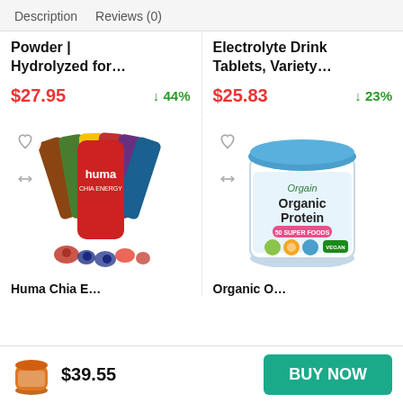Description   Reviews (0)
Powder | Hydrolyzed for…
$27.95   ↓44%
Electrolyte Drink Tablets, Variety…
$25.83   ↓23%
[Figure (photo): Huma Chia Energy gel packets in assorted colors with fruits]
[Figure (photo): Orgain Organic Protein white tub with blue lid]
Huma Chia E…
Organic O…
$39.55
BUY NOW